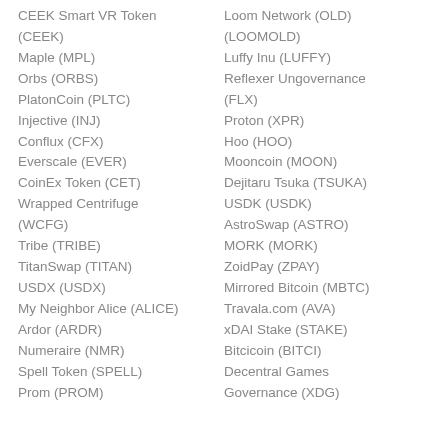CEEK Smart VR Token (CEEK)
Maple (MPL)
Orbs (ORBS)
PlatonCoin (PLTC)
Injective (INJ)
Conflux (CFX)
Everscale (EVER)
CoinEx Token (CET)
Wrapped Centrifuge (WCFG)
Tribe (TRIBE)
TitanSwap (TITAN)
USDX (USDX)
My Neighbor Alice (ALICE)
Ardor (ARDR)
Numeraire (NMR)
Spell Token (SPELL)
Prom (PROM)
Loom Network (OLD) (LOOMOLD)
Luffy Inu (LUFFY)
Reflexer Ungovernance (FLX)
Proton (XPR)
Hoo (HOO)
Mooncoin (MOON)
Dejitaru Tsuka (TSUKA)
USDK (USDK)
AstroSwap (ASTRO)
MORK (MORK)
ZoidPay (ZPAY)
Mirrored Bitcoin (MBTC)
Travala.com (AVA)
xDAI Stake (STAKE)
Bitcicoin (BITCI)
Decentral Games Governance (XDG)